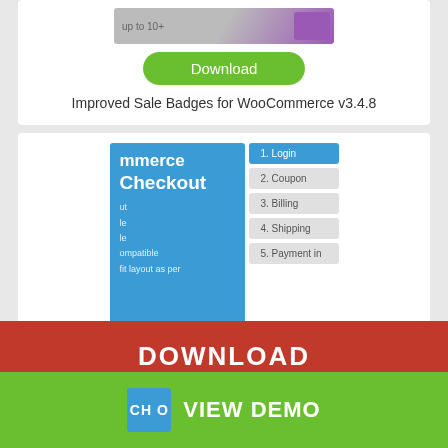[Figure (screenshot): Plugin preview image for Improved Sale Badges for WooCommerce]
Download
Improved Sale Badges for WooCommerce v3.4.8
[Figure (screenshot): WooCommerce MultiStep Checkout plugin preview showing checkout steps: Login, Coupon, Billing, Shipping, Payment info]
Download
WooCommerce MultiStep
DOWNLOAD
VIEW DEMO